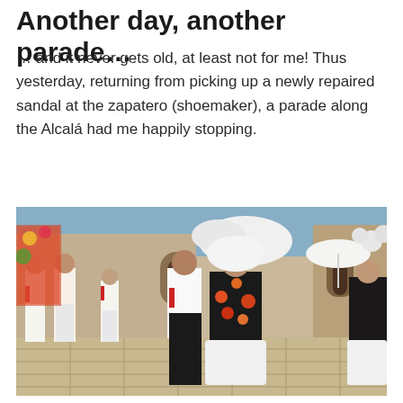Another day, another parade…
… and it never gets old, at least not for me!  Thus yesterday, returning from picking up a newly repaired sandal at the zapatero (shoemaker), a parade along the Alcalá had me happily stopping.
[Figure (photo): A colorful Mexican parade scene with participants wearing traditional Oaxacan folk costumes — women in black embroidered dresses with large floral headdresses, men in white shirts and black pants with red scarves, walking along a stone plaza with a colonial church building in the background.]